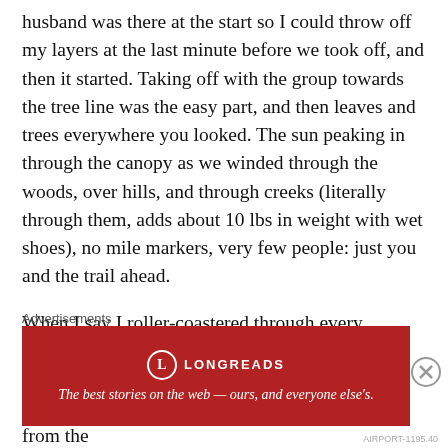husband was there at the start so I could throw off my layers at the last minute before we took off, and then it started. Taking off with the group towards the tree line was the easy part, and then leaves and trees everywhere you looked. The sun peaking in through the canopy as we winded through the woods, over hills, and through creeks (literally through them, adds about 10 lbs in weight with wet shoes), no mile markers, very few people: just you and the trail ahead.
When I say I roller-coastered through every emotion I am not joking in the slightest bit. The first mile or two were tough, but nothing I wasn't used to. As I got into my stride and thinned out from the [text cut off]
Advertisements
[Figure (other): Longreads advertisement banner with red background. Logo circle with 'L', brand name LONGREADS in caps, and tagline: 'The best stories on the web — ours, and everyone else's.']